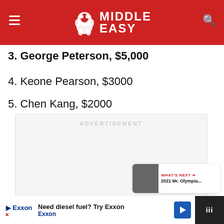Middle Easy
3. George Peterson, $5,000
4. Keone Pearson, $3000
5. Chen Kang, $2000
[Figure (other): Advertisement placeholder box]
WHAT'S NEXT → 2021 Mr. Olympia...